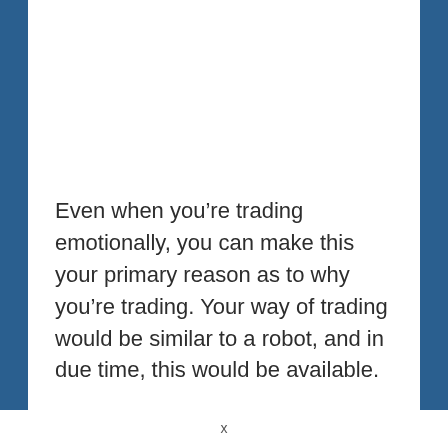Even when you're trading emotionally, you can make this your primary reason as to why you're trading. Your way of trading would be similar to a robot, and in due time, this would be available.